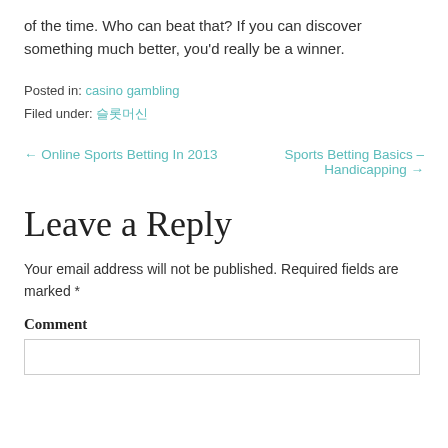of the time. Who can beat that? If you can discover something much better, you'd really be a winner.
Posted in: casino gambling
Filed under: 슬롯머신
← Online Sports Betting In 2013    Sports Betting Basics – Handicapping →
Leave a Reply
Your email address will not be published. Required fields are marked *
Comment